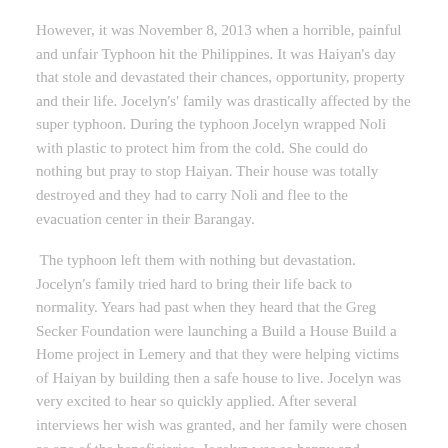However, it was November 8, 2013 when a horrible, painful and unfair Typhoon hit the Philippines. It was Haiyan's day that stole and devastated their chances, opportunity, property and their life. Jocelyn's' family was drastically affected by the super typhoon. During the typhoon Jocelyn wrapped Noli with plastic to protect him from the cold. She could do nothing but pray to stop Haiyan. Their house was totally destroyed and they had to carry Noli and flee to the evacuation center in their Barangay.
The typhoon left them with nothing but devastation. Jocelyn's family tried hard to bring their life back to normality. Years had past when they heard that the Greg Secker Foundation were launching a Build a House Build a Home project in Lemery and that they were helping victims of Haiyan by building then a safe house to live. Jocelyn was very excited to hear so quickly applied. After several interviews her wish was granted, and her family were chosen as one of the beneficiaries. Jocelyn was so happy and thankful for the blessing and opportunity that came to her family.
According to Jocelyn eventhing happens for a reason. All the